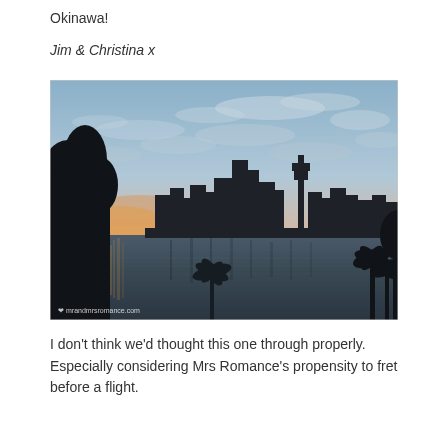Okinawa!
Jim & Christina x
[Figure (photo): Sunset cityscape of Sydney, Australia, with the city skyline silhouetted against an orange and blue twilight sky, reflected in the harbour water. Palm trees and vegetation visible in the foreground. Watermark reads 'mrandmrsromance.com'.]
I don't think we'd thought this one through properly. Especially considering Mrs Romance's propensity to fret before a flight.